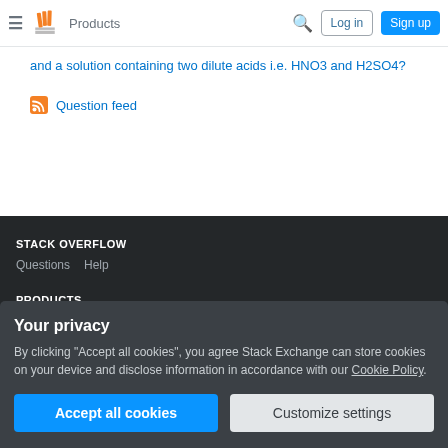Stack Overflow navigation bar with hamburger menu, logo, Products link, search, Log in and Sign up buttons
and a solution containing two dilute acids i.e. HNO3 and H2SO4?
Question feed
STACK OVERFLOW
Questions  Help
PRODUCTS
Teams  Advertising  Collectives  Talent
COMPANY
About  Press  Work Here  Legal  Privacy Policy  Terms of Service
Your privacy
By clicking "Accept all cookies", you agree Stack Exchange can store cookies on your device and disclose information in accordance with our Cookie Policy.
Accept all cookies  Customize settings